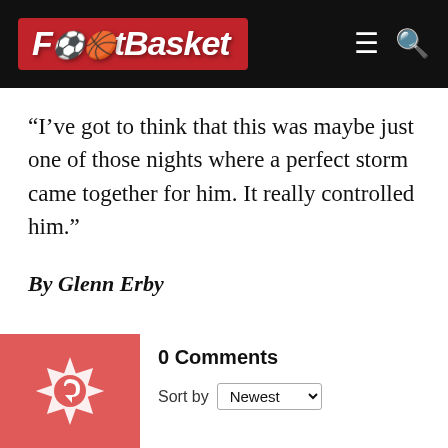FootBasket
“I’ve got to think that this was maybe just one of those nights where a perfect storm came together for him. It really controlled him.”
By Glenn Erby
0 Comments
Sort by Newest